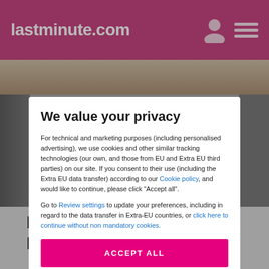lastminute.com
[Figure (screenshot): Hotel photo background, partially visible behind privacy modal]
We value your privacy
For technical and marketing purposes (including personalised advertising), we use cookies and other similar tracking technologies (our own, and those from EU and Extra EU third parties) on our site. If you consent to their use (including the Extra EU data transfer) according to our Cookie policy, and would like to continue, please click "Accept all".
Go to Review settings to update your preferences, including in regard to the data transfer in Extra-EU countries, or click here to continue without non mandatory cookies.
ACCEPT ALL
Information about Budgethotel de Zwaan